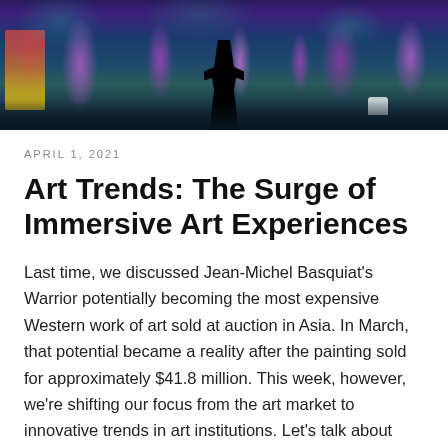[Figure (photo): Banner photograph of an immersive art installation with purple glowing trees, teal-lit forest, a silhouetted figure standing in the center, deer visible in the background, and colorful lights throughout]
APRIL 1, 2021
Art Trends: The Surge of Immersive Art Experiences
Last time, we discussed Jean-Michel Basquiat's Warrior potentially becoming the most expensive Western work of art sold at auction in Asia. In March, that potential became a reality after the painting sold for approximately $41.8 million. This week, however, we're shifting our focus from the art market to innovative trends in art institutions. Let's talk about immersive art experiences! Interestingly